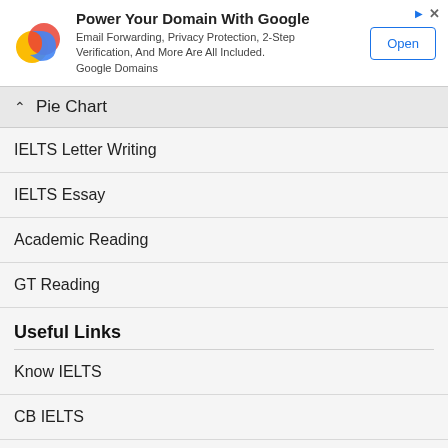[Figure (infographic): Google Domains advertisement banner with Google logo, text 'Power Your Domain With Google', details about email forwarding, privacy protection, 2-step verification, and an Open button]
Pie Chart
IELTS Letter Writing
IELTS Essay
Academic Reading
GT Reading
Useful Links
Know IELTS
CB IELTS
IELTS Secrets
Band Score Calculator